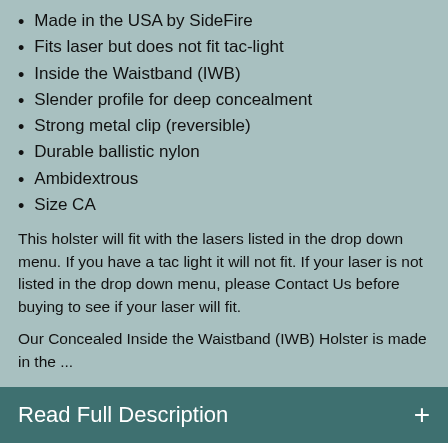Made in the USA by SideFire
Fits laser but does not fit tac-light
Inside the Waistband (IWB)
Slender profile for deep concealment
Strong metal clip (reversible)
Durable ballistic nylon
Ambidextrous
Size CA
This holster will fit with the lasers listed in the drop down menu. If you have a tac light it will not fit. If your laser is not listed in the drop down menu, please Contact Us before buying to see if your laser will fit.
Our Concealed Inside the Waistband (IWB) Holster is made in the ...
Read Full Description +
Related Taurus with Laser Holsters